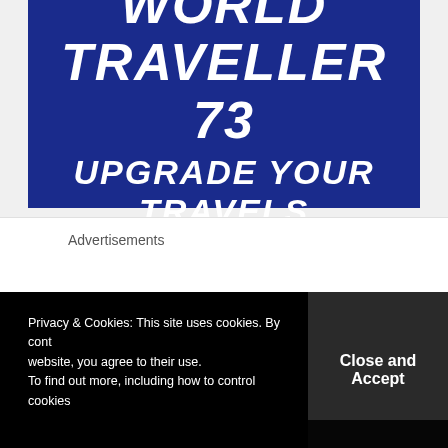[Figure (illustration): Dark blue banner with bold italic white text reading 'WORLD TRAVELLER 73' on the first line and 'UPGRADE YOUR TRAVELS' on the second line]
Advertisements
Privacy & Cookies: This site uses cookies. By continuing to use this website, you agree to their use.
To find out more, including how to control cookies,
Close and Accept